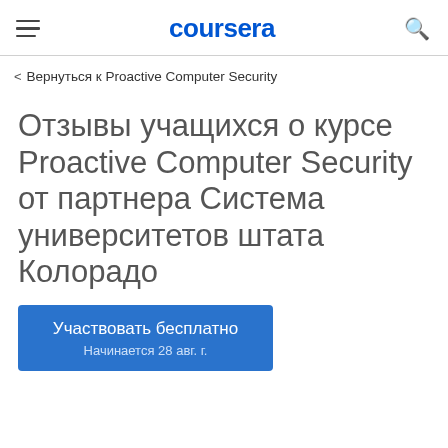coursera
Вернуться к Proactive Computer Security
Отзывы учащихся о курсе Proactive Computer Security от партнера Система университетов штата Колорадо
Участвовать бесплатно
Начинается 28 авг. г.